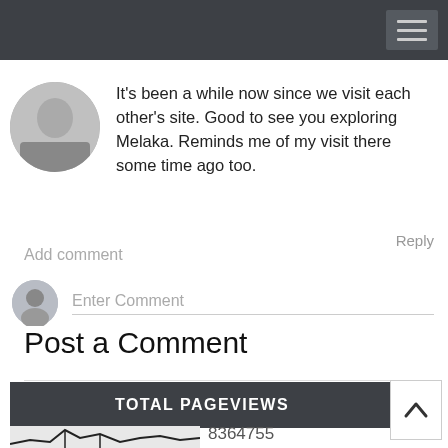[Figure (screenshot): Navigation bar with hamburger menu icon on dark background]
It's been a while now since we visit each other's site. Good to see you exploring Melaka. Reminds me of my visit there some time ago too.
Reply
Add comment
Enter Comment
Post a Comment
TOTAL PAGEVIEWS
[Figure (continuous-plot): Line chart showing pageview statistics with number 8364755 partially visible]